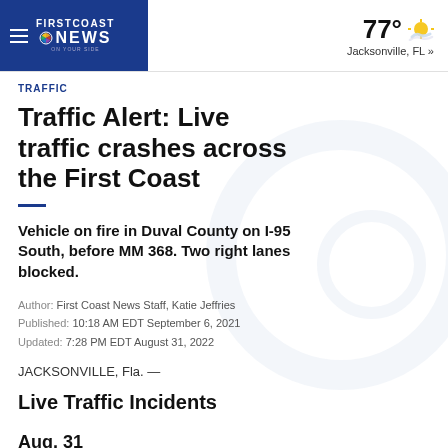FIRST COAST NEWS | 77° Jacksonville, FL »
TRAFFIC
Traffic Alert: Live traffic crashes across the First Coast
Vehicle on fire in Duval County on I-95 South, before MM 368. Two right lanes blocked.
Author: First Coast News Staff, Katie Jeffries
Published: 10:18 AM EDT September 6, 2021
Updated: 7:28 PM EDT August 31, 2022
JACKSONVILLE, Fla. —
Live Traffic Incidents
Aug. 31